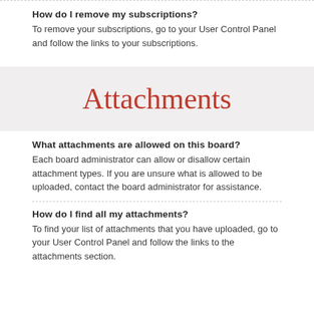How do I remove my subscriptions?
To remove your subscriptions, go to your User Control Panel and follow the links to your subscriptions.
Attachments
What attachments are allowed on this board?
Each board administrator can allow or disallow certain attachment types. If you are unsure what is allowed to be uploaded, contact the board administrator for assistance.
How do I find all my attachments?
To find your list of attachments that you have uploaded, go to your User Control Panel and follow the links to the attachments section.